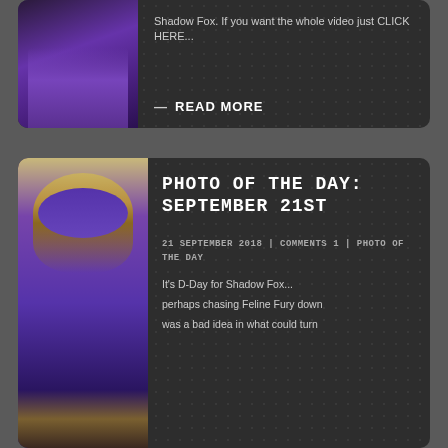[Figure (photo): Partial view of a person in a purple superhero costume (Shadow Fox) with gold gloves]
Shadow Fox. If you want the whole video just CLICK HERE...
— READ MORE
[Figure (photo): Woman dressed as Shadow Fox superhero in purple bodysuit and gold hawk mask and gloves, sitting at a table, looking at camera]
PHOTO OF THE DAY: SEPTEMBER 21ST
21 SEPTEMBER 2018 | COMMENTS 1 | PHOTO OF THE DAY
It's D-Day for Shadow Fox...
perhaps chasing Feline Fury down was a bad idea in what could turn